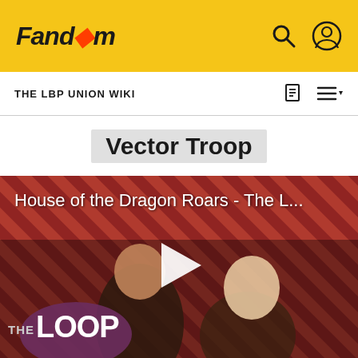Fandom
THE LBP UNION WIKI
Vector Troop
[Figure (screenshot): Video thumbnail for 'House of the Dragon Roars - The L...' with The Loop branding. Shows two characters from House of the Dragon against a diagonal red and dark stripe background. A play button triangle is visible in the center.]